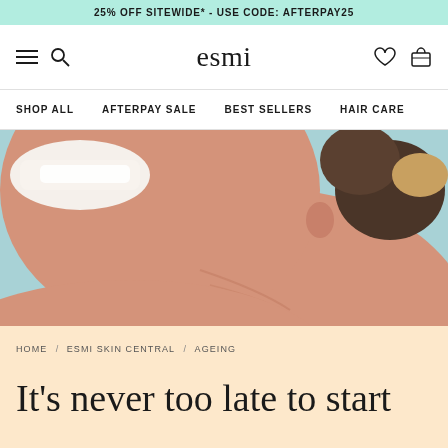25% OFF SITEWIDE* - USE CODE: AFTERPAY25
[Figure (logo): esmi skin care logo with hamburger menu, search, heart, and bag icons]
SHOP ALL / AFTERPAY SALE / BEST SELLERS / HAIR CARE
[Figure (photo): Side profile of a smiling woman with glowing skin against a light blue background]
HOME / ESMI SKIN CENTRAL / AGEING
It's never too late to start